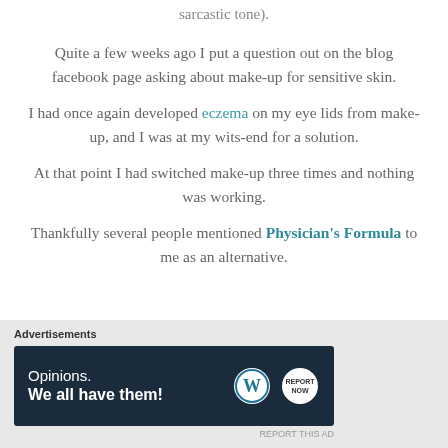sarcastic tone).
Quite a few weeks ago I put a question out on the blog facebook page asking about make-up for sensitive skin.
I had once again developed eczema on my eye lids from make-up, and I was at my wits-end for a solution.
At that point I had switched make-up three times and nothing was working.
Thankfully several people mentioned Physician's Formula to me as an alternative.
Advertisements
[Figure (other): Advertisement banner with dark navy background reading 'Opinions. We all have them!' with WordPress and another logo on the right side.]